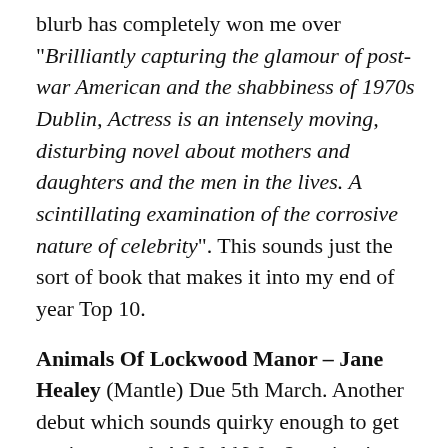blurb has completely won me over "Brilliantly capturing the glamour of post-war American and the shabbiness of 1970s Dublin, Actress is an intensely moving, disturbing novel about mothers and daughters and the men in the lives.  A scintillating examination of the corrosive nature of celebrity".  This sounds just the sort of book that makes it into my end of year Top 10.
Animals Of Lockwood Manor – Jane Healey
(Mantle) Due 5th March.  Another debut which sounds quirky enough to get me interested.  A World War 2 setting in a country house where a museum's collection of mammals has to be stored for safe-keeping.  This is described as a "gripping and atmospheric tale of family madness, long-buried secrets